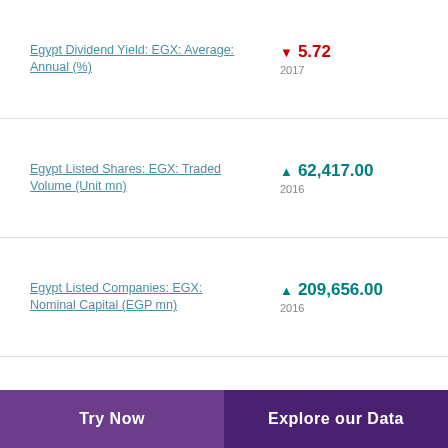Egypt Dividend Yield: EGX: Average: Annual (%)
Egypt Listed Shares: EGX: Traded Volume (Unit mn)
Egypt Listed Companies: EGX: Nominal Capital (EGP mn)
Egypt Issued Bonds: EGX: Number of Transactions: Local Currency (Unit)
Try Now  Explore our Data